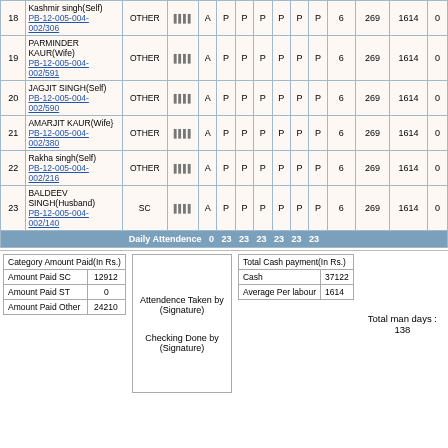| # | Name | Category | Bank | A | P | P | P | P | P | P | Days | 269 | 1614 | 0 |
| --- | --- | --- | --- | --- | --- | --- | --- | --- | --- | --- | --- | --- | --- | --- |
| 18 | Kashmir singh(Self) PB-12-005-004-002/306 | OTHER | |||| | A | P | P | P | P | P | P | 6 | 269 | 1614 | 0 |
| 19 | PARMINDER KAUR(Wife) PB-12-005-004-002/591 | OTHER | |||| | A | P | P | P | P | P | P | 6 | 269 | 1614 | 0 |
| 20 | JAGJIT SINGH(Self) PB-12-005-004-002/590 | OTHER | |||| | A | P | P | P | P | P | P | 6 | 269 | 1614 | 0 |
| 21 | AMARJIT KAUR(Wife) PB-12-005-004-002/380 | OTHER | |||| | A | P | P | P | P | P | P | 6 | 269 | 1614 | 0 |
| 22 | Rakha singh(Self) PB-12-005-004-002/216 | OTHER | |||| | A | P | P | P | P | P | P | 6 | 269 | 1614 | 0 |
| 23 | BALDEEV SINGH(Husband) PB-12-005-004-002/140 | SC | |||| | A | P | P | P | P | P | P | 6 | 269 | 1614 | 0 |
Daily Attendence  0  23  23  23  23  23  23
| Category Amount Paid(In Rs.) |  |
| --- | --- |
| Amount Paid SC | 12912 |
| Amount Paid ST | 0 |
| Amount Paid Other | 24210 |
Attendence Taken by (Signature)

Checking Done by (Signature)
| Total Cash payment(In Rs.) |  |
| --- | --- |
| Cash | 37122 |
| Average Per labour | 1614 |
Total man days : 138